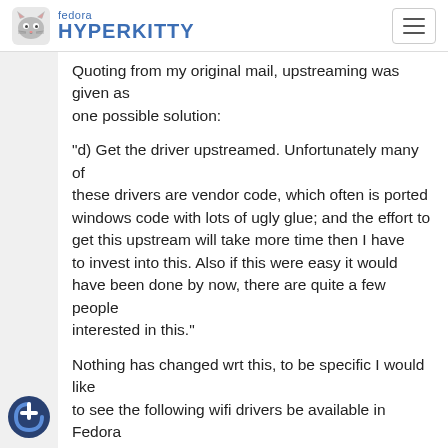fedora HYPERKITTY
Quoting from my original mail, upstreaming was given as one possible solution:

"d) Get the driver upstreamed. Unfortunately many of these drivers are vendor code, which often is ported windows code with lots of ugly glue; and the effort to get this upstream will take more time then I have to invest into this. Also if this were easy it would have been done by now, there are quite a few people interested in this."

Nothing has changed wrt this, to be specific I would like to see the following wifi drivers be available in Fedora